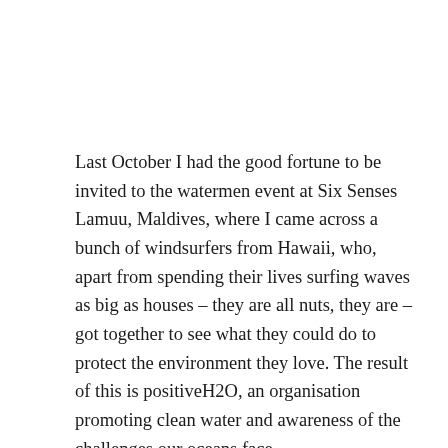Last October I had the good fortune to be invited to the watermen event at Six Senses Lamuu, Maldives, where I came across a bunch of windsurfers from Hawaii, who, apart from spending their lives surfing waves as big as houses – they are all nuts, they are – got together to see what they could do to protect the environment they love. The result of this is positiveH2O, an organisation promoting clean water and awareness of the challenges our oceans face.
As it happens, I returned from a stunning dive to 90m the other day, having taken a look around at the dark blue down there, and picked up a plastic bag on the way back to shore, only to find an invitation to join the +H2O